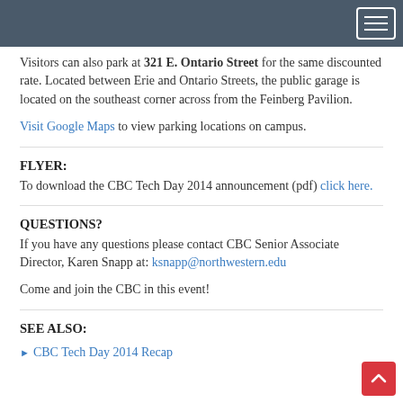[Navigation bar with hamburger menu]
Visitors can also park at 321 E. Ontario Street for the same discounted rate. Located between Erie and Ontario Streets, the public garage is located on the southeast corner across from the Feinberg Pavilion.
Visit Google Maps to view parking locations on campus.
FLYER:
To download the CBC Tech Day 2014 announcement (pdf) click here.
QUESTIONS?
If you have any questions please contact CBC Senior Associate Director, Karen Snapp at: ksnapp@northwestern.edu
Come and join the CBC in this event!
SEE ALSO:
CBC Tech Day 2014 Recap